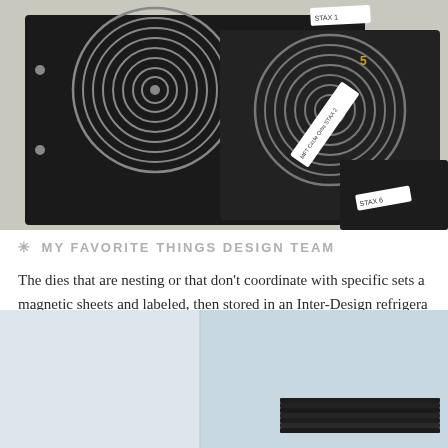[Figure (photo): Black magnetic die storage sheets with spiral/circle nesting dies arranged on a light grey surface. White label tabs visible reading 'STAX 1', 'MFT Circle Orbs STAX 2', 'STAX 6'. Numbers 5, 10 visible on some dies in yellow.]
MY FAVORITE THINGS DESIGN TEAM
The dies that are nesting or that don't coordinate with specific sets a... magnetic sheets and labeled, then stored in an Inter-Design refrigera...
[Figure (photo): Light blue/white room corner showing stacked black magnetic die storage sheets stored vertically in what appears to be a refrigerator door or organizer shelf.]